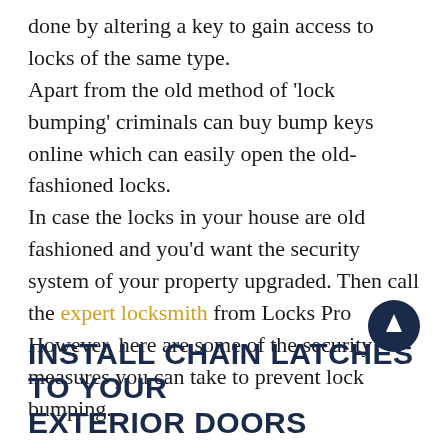done by altering a key to gain access to locks of the same type. Apart from the old method of 'lock bumping' criminals can buy bump keys online which can easily open the old-fashioned locks. In case the locks in your house are old fashioned and you'd want the security system of your property upgraded. Then call the expert locksmith from Locks Pro However, here are some of the security measures you can take to prevent lock bumping.
INSTALL CHAIN LATCHES TO YOUR EXTERIOR DOORS